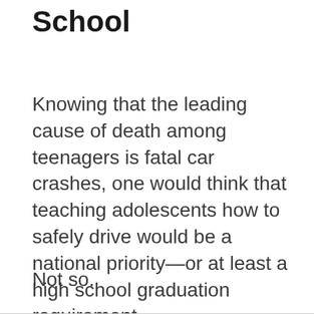School
Knowing that the leading cause of death among teenagers is fatal car crashes, one would think that teaching adolescents how to safely drive would be a national priority—or at least a high school graduation requirement.
Not so.